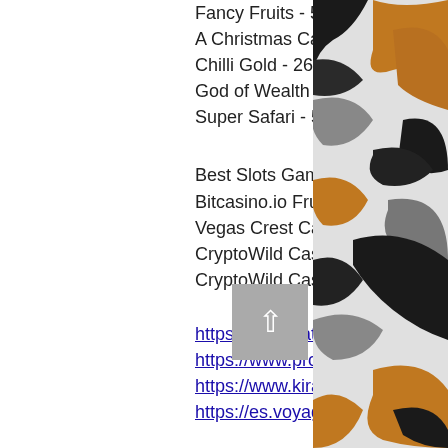Fancy Fruits - 565.7 bch
A Christmas Carol - 312.1 ltc
Chilli Gold - 262.9 bch
God of Wealth - 200.1 usdt
Super Safari - 521.4 dog
Best Slots Games:
Bitcasino.io Fruit Boxes
Vegas Crest Casino Phoenix
CryptoWild Casino Tribe
CryptoWild Casino Wild Rubies Christmas Edition
https://www.kateabley.com/profile/luiserideaux13901892/profile
https://www.proiforce.com/profile/lionelguagnti3432432/profile
https://www.kirariathome.com/profile/melyndarao15178972/profile
https://es.voyageraid.net/profile/telmamitchan18548514/profile
[Figure (illustration): Camouflage pattern illustration with orange, grey, and black shapes on the right side of the page]